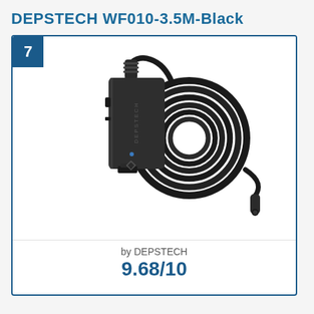DEPSTECH WF010-3.5M-Black
[Figure (photo): Product photo of DEPSTECH WF010-3.5M-Black endoscope camera with a black rectangular WiFi module and a coiled black flexible cable with camera tip]
by DEPSTECH
9.68/10